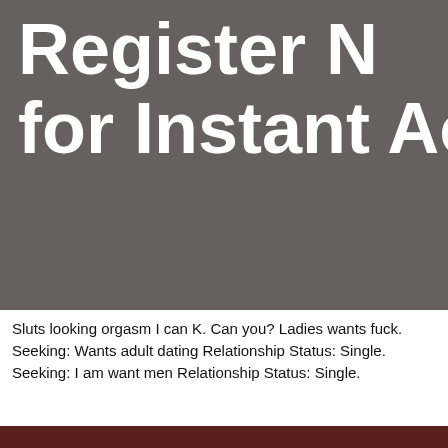[Figure (other): Dark grey banner with large white bold text partially visible: 'Register N' on first line and 'for Instant Ac' on second line (text is cropped at right edge).]
Sluts looking orgasm I can K. Can you? Ladies wants fuck. Seeking: Wants adult dating Relationship Status: Single. Seeking: I am want men Relationship Status: Single.
[Figure (other): Dark reddish-brown bar at the bottom of the page.]